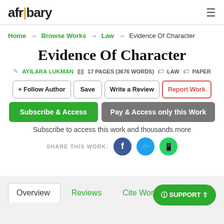afribary
Home → Browse Works → Law → Evidence Of Character
Evidence Of Character
AYILARA LUKMAN  17 PAGES (3676 WORDS)  LAW  PAPER
+ Follow Author  Save  Write a Review  Report Work
Subscribe & Access  Pay & Access only this Work
Subscribe to access this work and thousands more
SHARE THIS WORK:
Overview  Reviews  Cite Work  SUPPORT